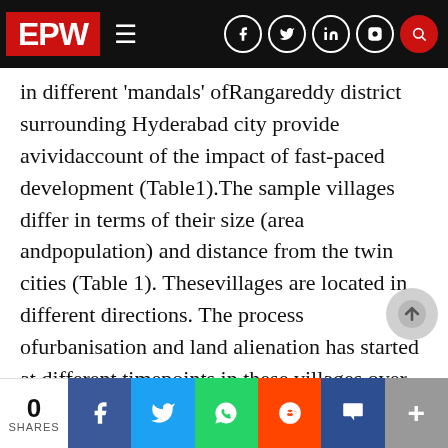EPW
in different ‘mandals’ ofRangareddy district surrounding Hyderabad city provide avividaccount of the impact of fast-paced development (Table1).The sample villages differ in terms of their size (area andpopulation) and distance from the twin cities (Table 1). Thesevillages are located in different directions. The process ofurbanisation and land alienation has started at different timepoints in these villages over the last 20 years. Kondapur was thefirst village to experience the externalities of urbanisation anddevelopment. Kondapur came into the limelight during the 1990swith the
0 SHARES | Facebook | Twitter | WhatsApp | Reddit | Pocket | +